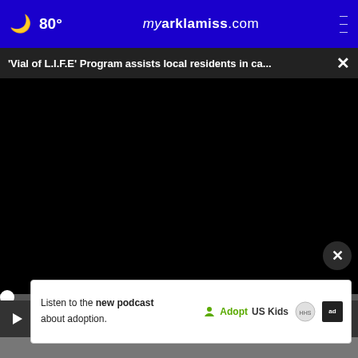🌙 80° myarklamiss.com ≡
'Vial of L.I.F.E' Program assists local residents in ca... ×
[Figure (screenshot): Black video player area with play controls bar showing play button, mute icon, 00:00 timestamp, caption icon, fullscreen icon. Progress bar with white dot at start.]
Sneaky Way Ashburn Homeowners Are Getting Their...
Smart Consumer Update
Listen to the new podcast about adoption.
[Figure (logo): Adopt US Kids logo with ad choice badge]